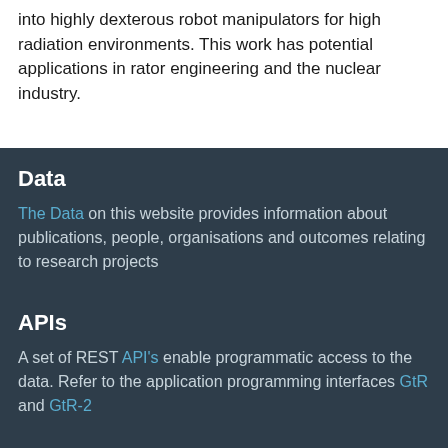into highly dexterous robot manipulators for high radiation environments. This work has potential applications in rator engineering and the nuclear industry.
Data
The Data on this website provides information about publications, people, organisations and outcomes relating to research projects
APIs
A set of REST API's enable programmatic access to the data. Refer to the application programming interfaces GtR and GtR-2
Contact
UKRI Gateway...